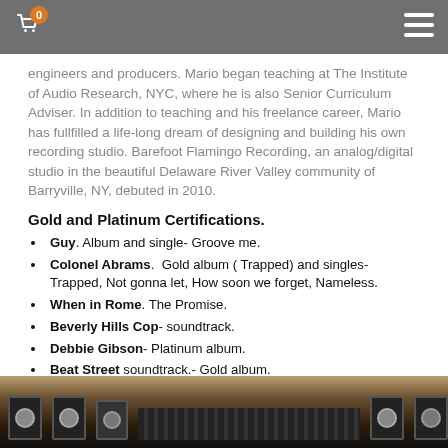0 [cart icon] [hamburger menu]
engineers and producers. Mario began teaching at The Institute of Audio Research, NYC, where he is also Senior Curriculum Adviser. In addition to teaching and his freelance career, Mario has fullfilled a life-long dream of designing and building his own recording studio. Barefoot Flamingo Recording, an analog/digital studio in the beautiful Delaware River Valley community of Barryville, NY, debuted in 2010.
Gold and Platinum Certifications.
Guy. Album and single- Groove me.
Colonel Abrams. Gold album ( Trapped) and singles- Trapped, Not gonna let, How soon we forget, Nameless.
When in Rome. The Promise.
Beverly Hills Cop- soundtrack.
Debbie Gibson- Platinum album.
Beat Street soundtrack.- Gold album.
Hector Lavoe- La Comedia.
Jeff Lorber. - Step by Step.
New Edition. - Once in a Lifetime groove. Gold single.
Luna. – Penthouse.
[Figure (photo): Dark photo of audio recording equipment/console with knobs and hardware]